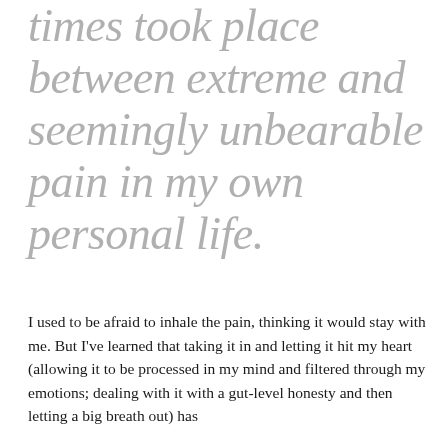times took place between extreme and seemingly unbearable pain in my own personal life.
I used to be afraid to inhale the pain, thinking it would stay with me. But I've learned that taking it in and letting it hit my heart (allowing it to be processed in my mind and filtered through my emotions; dealing with it with a gut-level honesty and then letting a big breath out) has